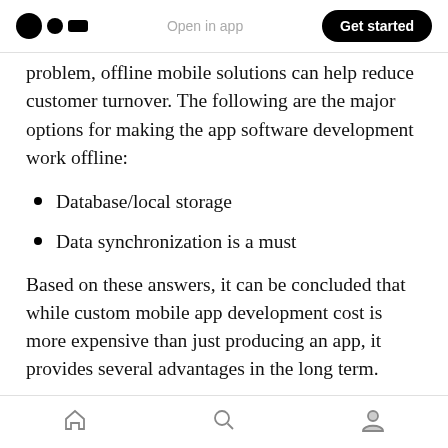Open in app  |  Get started
problem, offline mobile solutions can help reduce customer turnover. The following are the major options for making the app software development work offline:
Database/local storage
Data synchronization is a must
Based on these answers, it can be concluded that while custom mobile app development cost is more expensive than just producing an app, it provides several advantages in the long term.
Home  Search  Profile